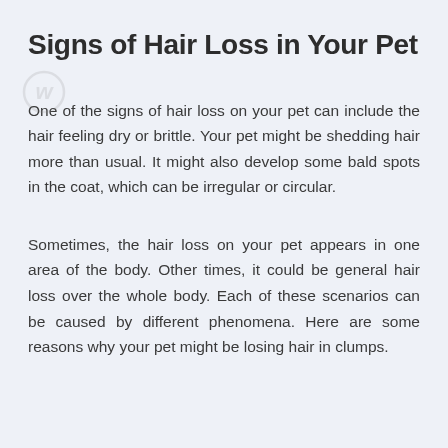Signs of Hair Loss in Your Pet
One of the signs of hair loss on your pet can include the hair feeling dry or brittle. Your pet might be shedding hair more than usual. It might also develop some bald spots in the coat, which can be irregular or circular.
Sometimes, the hair loss on your pet appears in one area of the body. Other times, it could be general hair loss over the whole body. Each of these scenarios can be caused by different phenomena. Here are some reasons why your pet might be losing hair in clumps.